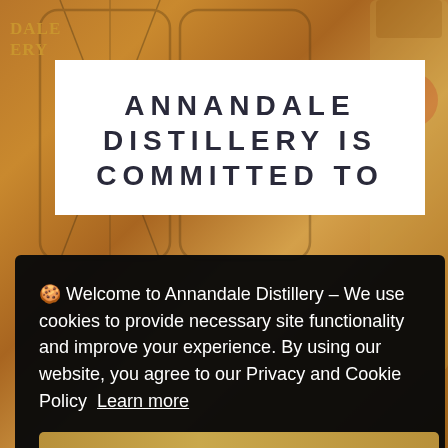DALE
ERY
ANNANDALE DISTILLERY IS COMMITTED TO
🍪 Welcome to Annandale Distillery – We use cookies to provide necessary site functionality and improve your experience. By using our website, you agree to our Privacy and Cookie Policy  Learn more
ACCEPT